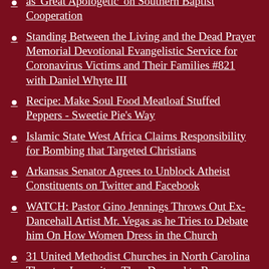as 'Great Apologetic' on Southern Baptist Cooperation
Standing Between the Living and the Dead Prayer Memorial Devotional Evangelistic Service for Coronavirus Victims and Their Families #821 with Daniel Whyte III
Recipe: Make Soul Food Meatloaf Stuffed Peppers - Sweetie Pie's Way
Islamic State West Africa Claims Responsibility for Bombing that Targeted Christians
Arkansas Senator Agrees to Unblock Atheist Constituents on Twitter and Facebook
WATCH: Pastor Gino Jennings Throws Out Ex-Dancehall Artist Mr. Vegas as he Tries to Debate him On How Women Dress in the Church
31 United Methodist Churches in North Carolina Threaten Lawsuit as They Demand to Be Immediately Allowed to Leave the Denomination
Russia Allegedly Tells Nuclear Power Plant